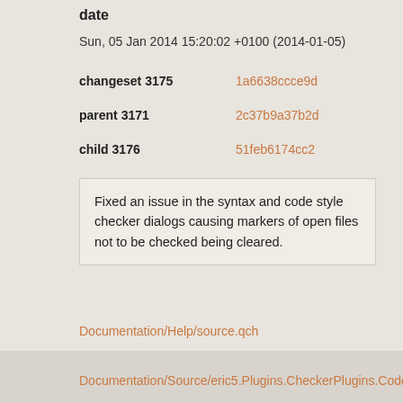date
Sun, 05 Jan 2014 15:20:02 +0100 (2014-01-05)
changeset 3175	1a6638ccce9d
parent 3171	2c37b9a37b2d
child 3176	51feb6174cc2
Fixed an issue in the syntax and code style checker dialogs causing markers of open files not to be checked being cleared.
Documentation/Help/source.qch
Documentation/Source/eric5.Plugins.CheckerPlugins.CodeSty
Documentation/Source/eric5.Plugins.CheckerPlugins.SyntaxC